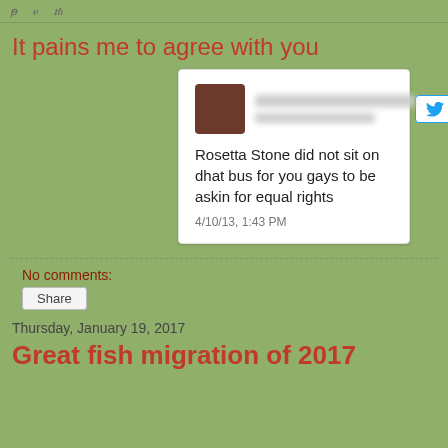It pains me to agree with you
[Figure (screenshot): A screenshot of a tweet card. The user's avatar is a blurred/obscured photo. The username and handle are blurred out. A Twitter follow button with the Twitter bird icon and '+' is shown. The tweet text reads: 'Rosetta Stone did not sit on dhat bus for you gays to be askin for equal rights'. Timestamp: 4/10/13, 1:43 PM]
No comments:
Share
Thursday, January 19, 2017
Great fish migration of 2017